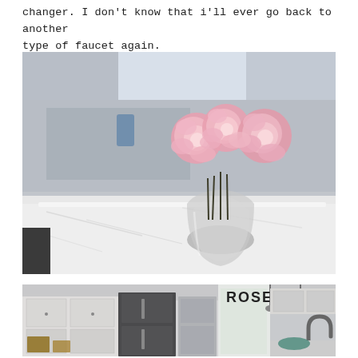changer. I don't know that i'll ever go back to another type of faucet again.
[Figure (photo): Close-up photo of pink roses in a round glass vase sitting on a white marble kitchen countertop, with a blurred kitchen background.]
[Figure (photo): Wide angle photo of a renovated kitchen with white cabinets, stainless steel refrigerator, pendant lights, and a tall gooseneck faucet. The word ROSE is visible on a sign above the refrigerator area.]